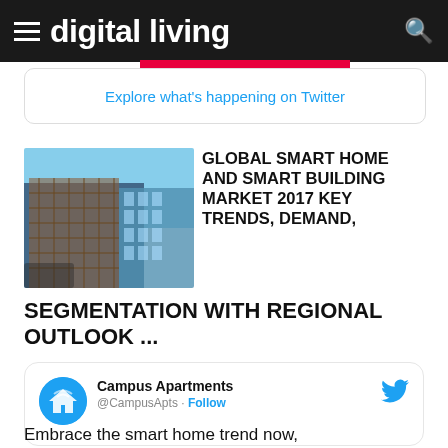digital living
Explore what's happening on Twitter
GLOBAL SMART HOME AND SMART BUILDING MARKET 2017 KEY TRENDS, DEMAND, SEGMENTATION WITH REGIONAL OUTLOOK ...
[Figure (photo): Photo of a modern smart building with glass facade and blue sky]
Campus Apartments @CampusApts · Follow
Embrace the smart home trend now,